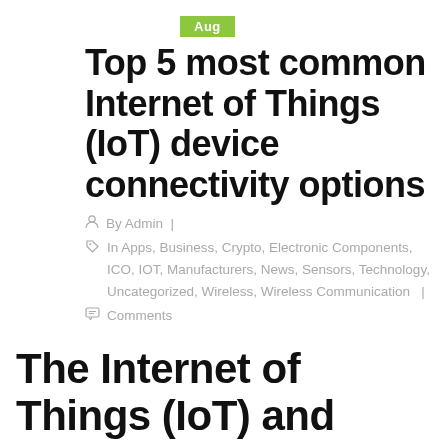Aug
Top 5 most common Internet of Things (IoT) device connectivity options
By Admin | In Apps, Business, Crypto, Electronic Components, ICO, IOT, Manufacturers, News, Sensors, Technology, Uncategorized, Wireless, Wireless Communication | Comments
The Internet of Things (IoT) and